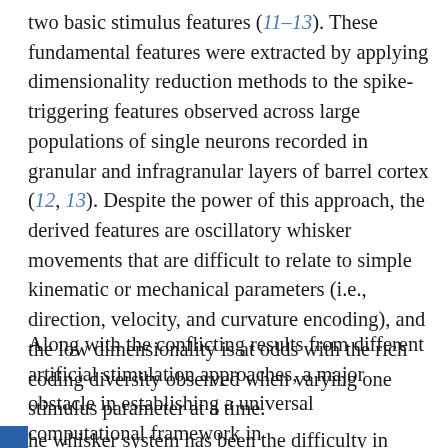two basic stimulus features (11–13). These fundamental features were extracted by applying dimensionality reduction methods to the spike-triggering features observed across large populations of single neurons recorded in granular and infragranular layers of barrel cortex (12, 13). Despite the power of this approach, the derived features are oscillatory whisker movements that are difficult to relate to simple kinematic or mechanical parameters (i.e., direction, velocity, and curvature encoding), and the low dimensionality is at odds with the rich coding diversity observed when varying one stimulus parameter at a time.
Along with the conflicting results from different artificial stimulation approaches, a major obstacle in establishing a universal computational framework in the whisker system has been the difficulty in